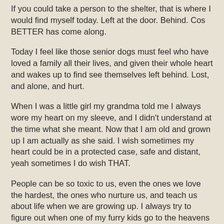If you could take a person to the shelter, that is where I would find myself today.  Left at the door. Behind.  Cos BETTER has come along.
Today I feel like those senior dogs must feel who have loved a family all their lives, and given their whole heart and wakes up to find see themselves left behind.  Lost, and alone, and hurt.
When I was a little girl my grandma told me I always wore my heart on my sleeve, and I didn't understand at the time what she meant.  Now that I am old and grown up I am actually as she said.  I wish sometimes my heart could be in a protected case, safe and distant, yeah sometimes I do wish THAT.
People can be so toxic to us, even the ones we love the hardest, the ones who nurture us, and teach us about life when we are growing up.  I always try to figure out when one of my furry kids go to the heavens above what lesson I was to learned from having them, and then losing them, it helps me feel a little more sane, so this time I am also asking